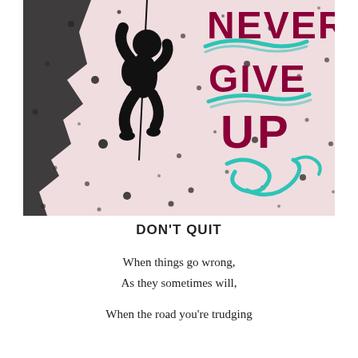[Figure (illustration): Motivational poster showing a rock climber silhouette on a light pink speckled background with bold dark red text 'NEVER GIVE UP' and decorative teal swirl elements]
DON'T QUIT
When things go wrong,
As they sometimes will,

When the road you're trudging